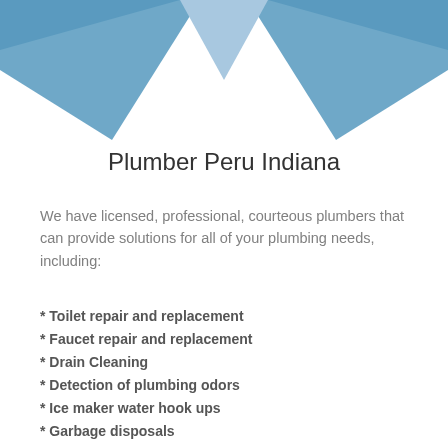[Figure (illustration): Decorative blue geometric header with two triangular/diamond shapes in steel blue on left and right top corners, converging toward the center bottom of the header area.]
Plumber Peru Indiana
We have licensed, professional, courteous plumbers that can provide solutions for all of your plumbing needs, including:
* Toilet repair and replacement
* Faucet repair and replacement
* Drain Cleaning
* Detection of plumbing odors
* Ice maker water hook ups
* Garbage disposals
* Outside Hydrants Noise caused by plumbing
* Water pressure and other plumbing...